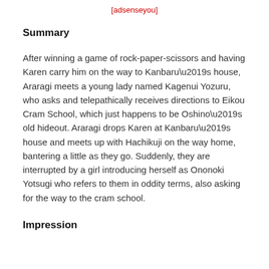[adsenseyou]
Summary
After winning a game of rock-paper-scissors and having Karen carry him on the way to Kanbaru’s house, Araragi meets a young lady named Kagenui Yozuru, who asks and telepathically receives directions to Eikou Cram School, which just happens to be Oshino’s old hideout. Araragi drops Karen at Kanbaru’s house and meets up with Hachikuji on the way home, bantering a little as they go. Suddenly, they are interrupted by a girl introducing herself as Ononoki Yotsugi who refers to them in oddity terms, also asking for the way to the cram school.
Impression